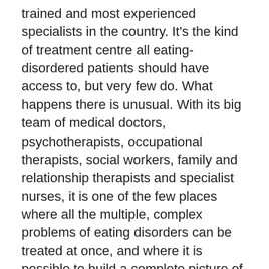trained and most experienced specialists in the country. It's the kind of treatment centre all eating-disordered patients should have access to, but very few do. What happens there is unusual. With its big team of medical doctors, psychotherapists, occupational therapists, social workers, family and relationship therapists and specialist nurses, it is one of the few places where all the multiple, complex problems of eating disorders can be treated at once, and where it is possible to build a complete picture of the causes, development and treatment of the modern epidemic.
I am allowed to sit in on the weekly 'ward round' – a case conference with the patient and all the members of her treatment team to discuss her progress. In practice, this means one very small girl sits facing up to 17 professionals. To me, it looks intimidating and heartless